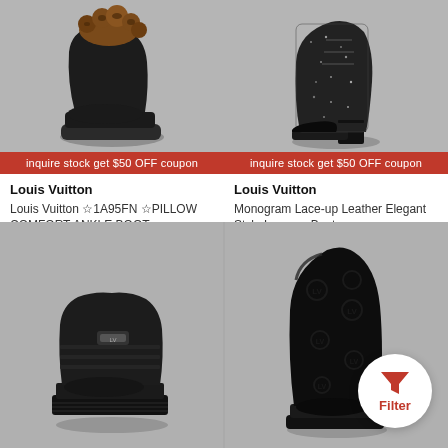[Figure (photo): Louis Vuitton black ankle boot with brown leopard print fur pom-pom trim on top]
inquire stock get $50 OFF coupon
Louis Vuitton
Louis Vuitton ☆1A95FN ☆PILLOW COMFORT ANKLE BOOT
$3,730 USD (original, crossed out), $3,531 USD, 5% off
[Figure (photo): Louis Vuitton black sparkle/glitter lace-up mid-calf boot with block heel]
inquire stock get $50 OFF coupon
Louis Vuitton
Monogram Lace-up Leather Elegant Style Lace-up Boots
$2,308 USD
[Figure (photo): Louis Vuitton black platform ankle boot with chunky sole and small logo buckle]
[Figure (photo): Louis Vuitton black patent monogram embossed tall rain boot]